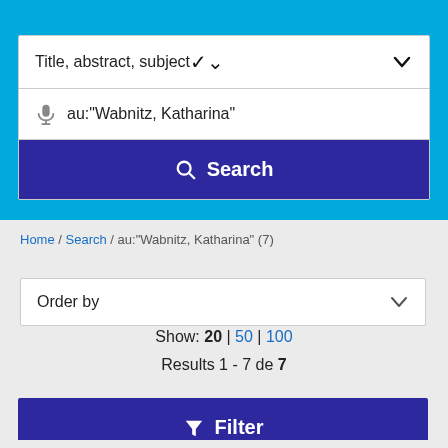Title, abstract, subject
au:"Wabnitz, Katharina"
Search
Home / Search / au:"Wabnitz, Katharina" (7)
Order by
Show: 20 | 50 | 100
Results 1 - 7 de 7
Filter